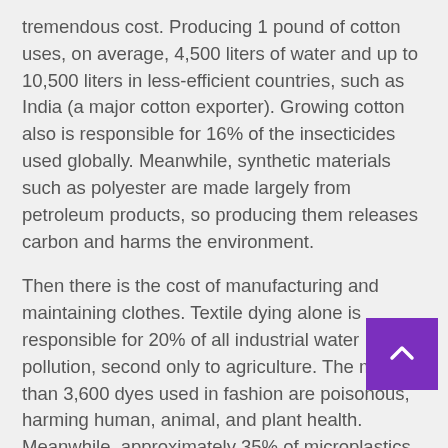tremendous cost. Producing 1 pound of cotton uses, on average, 4,500 liters of water and up to 10,500 liters in less-efficient countries, such as India (a major cotton exporter). Growing cotton also is responsible for 16% of the insecticides used globally. Meanwhile, synthetic materials such as polyester are made largely from petroleum products, so producing them releases carbon and harms the environment.
Then there is the cost of manufacturing and maintaining clothes. Textile dying alone is responsible for 20% of all industrial water pollution, second only to agriculture. The more than 3,600 dyes used in fashion are poisonous, harming human, animal, and plant health. Meanwhile, approximately 35% of microplastics in the oceans come from people laundering their synthetic clothes.
And what happens to the textiles after all those resources are